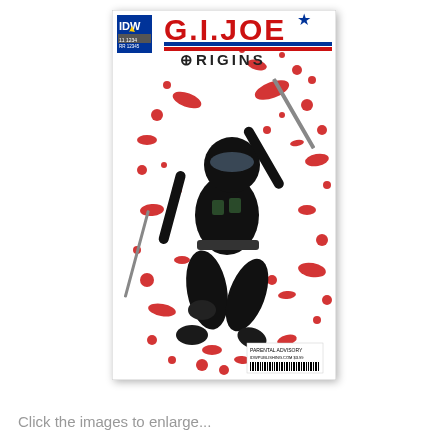[Figure (illustration): Comic book cover of 'G.I. Joe Origins' published by IDW. Features a ninja character dressed in all-black tactical gear holding a sword/katana, leaping dynamically against a white background splattered with red blood-like paint. The IDW logo appears in the top left corner. The G.I. Joe logo with a star is prominently displayed at the top, and 'ORIGINS' is written below it. A barcode and price information appear at the bottom right.]
Click the images to enlarge...